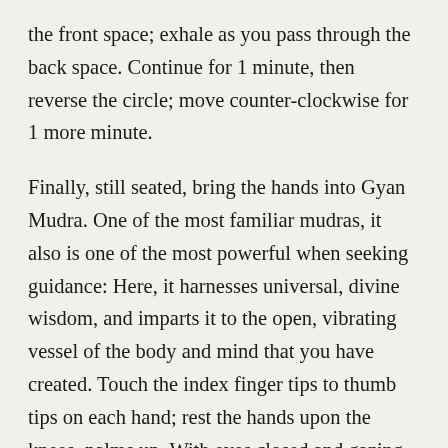the front space; exhale as you pass through the back space. Continue for 1 minute, then reverse the circle; move counter-clockwise for 1 more minute.
Finally, still seated, bring the hands into Gyan Mudra. One of the most familiar mudras, it also is one of the most powerful when seeking guidance: Here, it harnesses universal, divine wisdom, and imparts it to the open, vibrating vessel of the body and mind that you have created. Touch the index finger tips to thumb tips on each hand; rest the hands upon the knees, palms up. With eyes closed and gazing to the Third Eye, breathe naturally, yet consciously for at least 3 minutes.